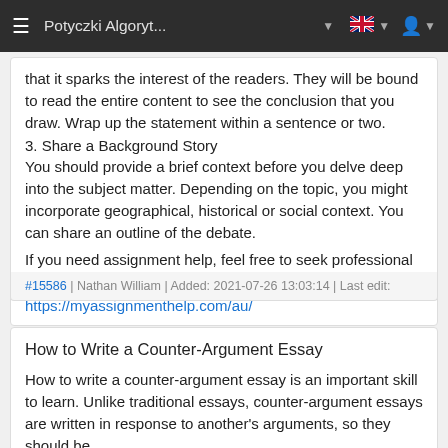Potyczki Algoryt... ▼
that it sparks the interest of the readers. They will be bound to read the entire content to see the conclusion that you draw. Wrap up the statement within a sentence or two.
3. Share a Background Story
You should provide a brief context before you delve deep into the subject matter. Depending on the topic, you might incorporate geographical, historical or social context. You can share an outline of the debate.
If you need assignment help, feel free to seek professional assistance.
https://myassignmenthelp.com/au/
#15586 | Nathan William | Added: 2021-07-26 13:03:14 | Last edit:
How to Write a Counter-Argument Essay
How to write a counter-argument essay is an important skill to learn. Unlike traditional essays, counter-argument essays are written in response to another's arguments, so they should be